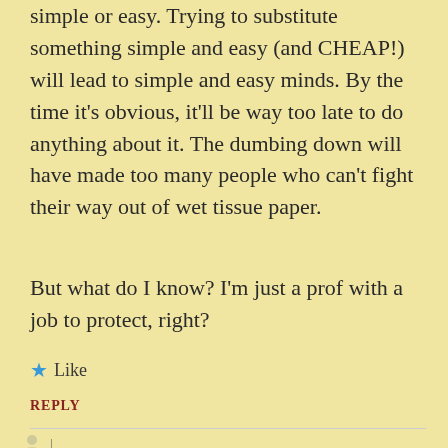simple or easy. Trying to substitute something simple and easy (and CHEAP!) will lead to simple and easy minds. By the time it’s obvious, it’ll be way too late to do anything about it. The dumbing down will have made too many people who can’t fight their way out of wet tissue paper.
But what do I know? I’m just a prof with a job to protect, right?
★ Like
REPLY